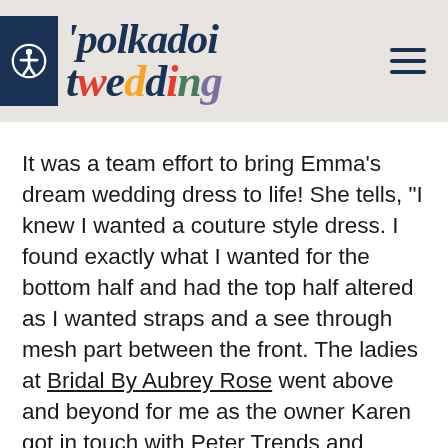polkadot wedding
It was a team effort to bring Emma's dream wedding dress to life! She tells, "I knew I wanted a couture style dress. I found exactly what I wanted for the bottom half and had the top half altered as I wanted straps and a see through mesh part between the front. The ladies at Bridal By Aubrey Rose went above and beyond for me as the owner Karen got in touch with Peter Trends and organised the right underlay colour and even extra lace. My